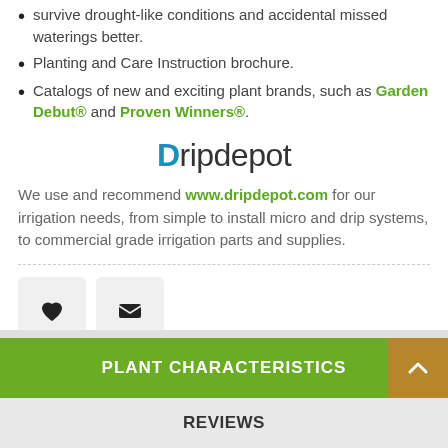survive drought-like conditions and accidental missed waterings better.
Planting and Care Instruction brochure.
Catalogs of new and exciting plant brands, such as Garden Debut® and Proven Winners®.
[Figure (logo): Dripdepot logo with blue D and dark gray text]
We use and recommend www.dripdepot.com for our irrigation needs, from simple to install micro and drip systems, to commercial grade irrigation parts and supplies.
[Figure (infographic): Heart icon button and envelope/email icon button]
PLANT CHARACTERISTICS
REVIEWS